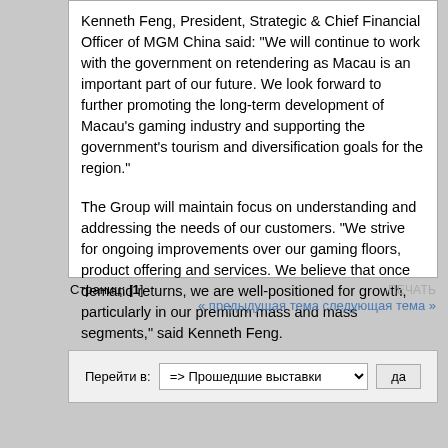Kenneth Feng, President, Strategic & Chief Financial Officer of MGM China said: "We will continue to work with the government on retendering as Macau is an important part of our future. We look forward to further promoting the long-term development of Macau's gaming industry and supporting the government's tourism and diversification goals for the region."
The Group will maintain focus on understanding and addressing the needs of our customers. "We strive for ongoing improvements over our gaming floors, product offering and services. We believe that once demand returns, we are well-positioned for growth, particularly in our premium mass and mass segments," said Kenneth Feng.
Записан
Страниц: [1]
« предыдущая тема следующая тема »
Перейти в: => Прошедшие выставки  да